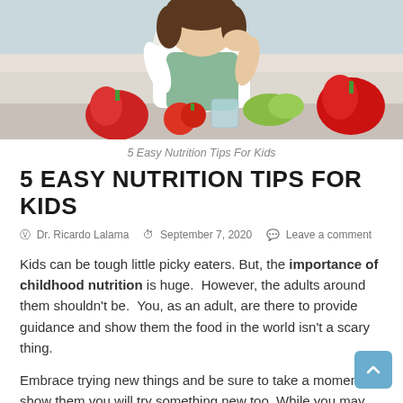[Figure (photo): Child with dark hair seen over a table with fresh vegetables including red bell peppers, tomatoes, and lettuce in a bright kitchen setting.]
5 Easy Nutrition Tips For Kids
5 EASY NUTRITION TIPS FOR KIDS
Dr. Ricardo Lalama   September 7, 2020   Leave a comment
Kids can be tough little picky eaters. But, the importance of childhood nutrition is huge.  However, the adults around them shouldn't be.  You, as an adult, are there to provide guidance and show them the food in the world isn't a scary thing.
Embrace trying new things and be sure to take a moment to show them you will try something new too. While you may have had that food in the past, they haven't seen you eat it, so why would they.